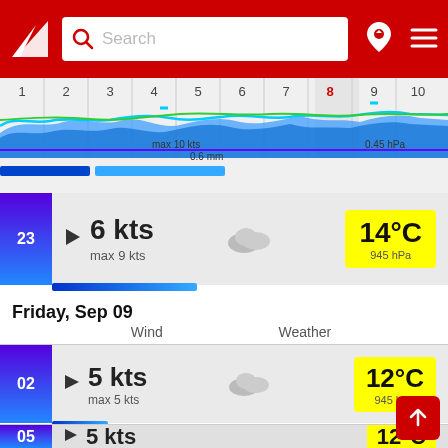Search bar navigation header with logo, search field, location pin and menu icons
[Figure (continuous-plot): Hourly wind/wave timeline chart with blue wave patterns, green lines and hour labels 1-10, with hour 8 highlighted in grey. Shows max 10 kts, 0.6 mm labels.]
23  ▶  6 kts  max 9 kts  [cloud icon]  14°C  945 hPa
Friday, Sep 09
Wind    Weather
02  ▶  5 kts  max 5 kts  [cloud icon]  12°C  945 hPa
05  ▶  5 kts  max 10 kts  [cloud icon]  0.5 mm  12°C  945 hPa
7 kts  [sun/cloud icon]  12°C